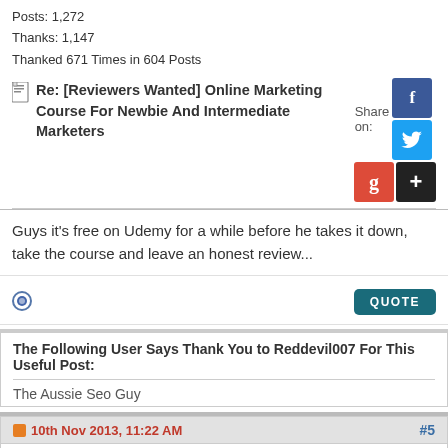Posts: 1,272
Thanks: 1,147
Thanked 671 Times in 604 Posts
Re: [Reviewers Wanted] Online Marketing Course For Newbie And Intermediate Marketers
Guys it's free on Udemy for a while before he takes it down, take the course and leave an honest review...
The Following User Says Thank You to Reddevil007 For This Useful Post:
The Aussie Seo Guy
10th Nov 2013, 11:22 AM
#5
traffic-turbo